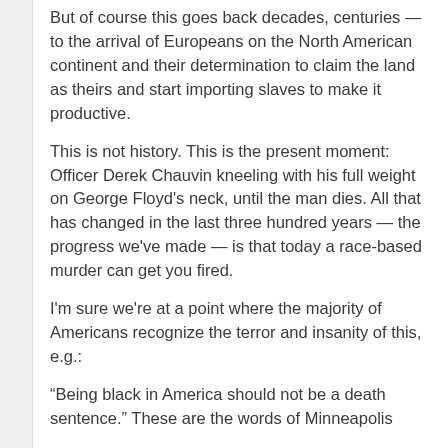But of course this goes back decades, centuries — to the arrival of Europeans on the North American continent and their determination to claim the land as theirs and start importing slaves to make it productive.
This is not history. This is the present moment: Officer Derek Chauvin kneeling with his full weight on George Floyd's neck, until the man dies. All that has changed in the last three hundred years — the progress we've made — is that today a race-based murder can get you fired.
I'm sure we're at a point where the majority of Americans recognize the terror and insanity of this, e.g.:
“Being black in America should not be a death sentence.” These are the words of Minneapolis